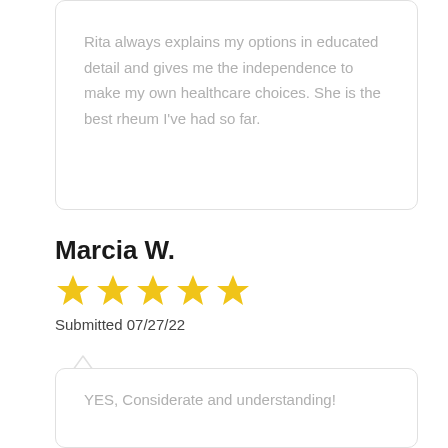Rita always explains my options in educated detail and gives me the independence to make my own healthcare choices. She is the best rheum I've had so far.
Marcia W.
[Figure (other): Five yellow star rating icons]
Submitted 07/27/22
YES, Considerate and understanding!